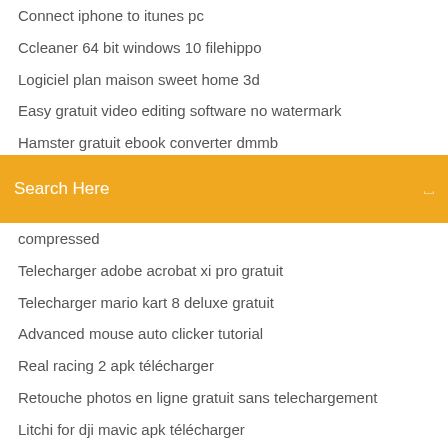Connect iphone to itunes pc
Ccleaner 64 bit windows 10 filehippo
Logiciel plan maison sweet home 3d
Easy gratuit video editing software no watermark
Hamster gratuit ebook converter dmmb
Eset nod32 antivirus for windows 8.1 32 bit
Windows 7 professionnel 64 bits telecharger
Search Here
compressed
Telecharger adobe acrobat xi pro gratuit
Telecharger mario kart 8 deluxe gratuit
Advanced mouse auto clicker tutorial
Real racing 2 apk télécharger
Retouche photos en ligne gratuit sans telechargement
Litchi for dji mavic apk télécharger
Gta 5 modifier personnage
Microsoft word 2019 télécharger crack 64 bit
Assassins creed jeux pc ordre